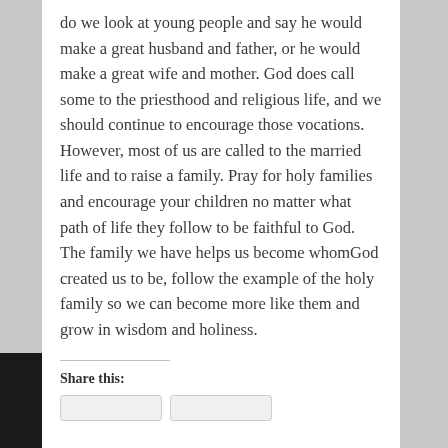do we look at young people and say he would make a great husband and father, or he would make a great wife and mother. God does call some to the priesthood and religious life, and we should continue to encourage those vocations. However, most of us are called to the married life and to raise a family. Pray for holy families and encourage your children no matter what path of life they follow to be faithful to God. The family we have helps us become whomGod created us to be, follow the example of the holy family so we can become more like them and grow in wisdom and holiness.
Share this: